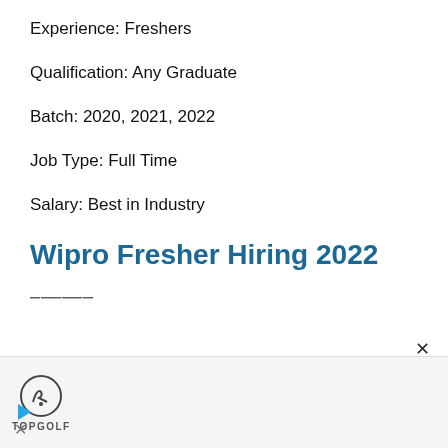Experience: Freshers
Qualification: Any Graduate
Batch: 2020, 2021, 2022
Job Type: Full Time
Salary: Best in Industry
Wipro Fresher Hiring 2022
[Figure (other): Advertisement banner with Topgolf logo and navigation elements]